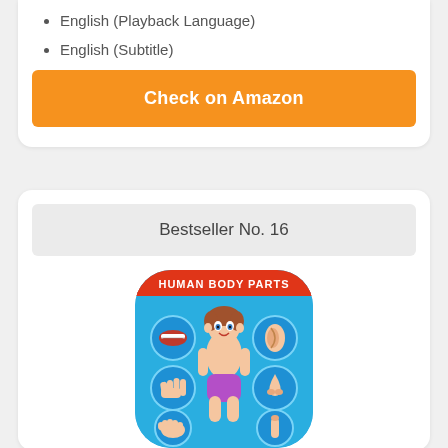English (Playback Language)
English (Subtitle)
Check on Amazon
Bestseller No. 16
[Figure (illustration): App icon for 'Human Body Parts' educational app showing a cartoon child with labeled body parts (mouth, ear, hand, nose, foot, finger) on a blue background with a red title banner.]